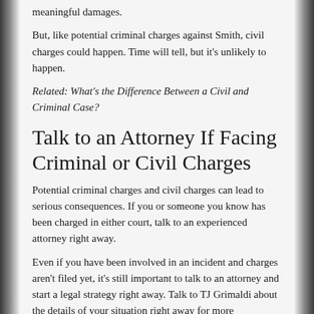meaningful damages.
But, like potential criminal charges against Smith, civil charges could happen. Time will tell, but it’s unlikely to happen.
Related: What’s the Difference Between a Civil and Criminal Case?
Talk to an Attorney If Facing Criminal or Civil Charges
Potential criminal charges and civil charges can lead to serious consequences. If you or someone you know has been charged in either court, talk to an experienced attorney right away.
Even if you have been involved in an incident and charges aren’t filed yet, it’s still important to talk to an attorney and start a legal strategy right away. Talk to TJ Grimaldi about the details of your situation right away for more information. P...